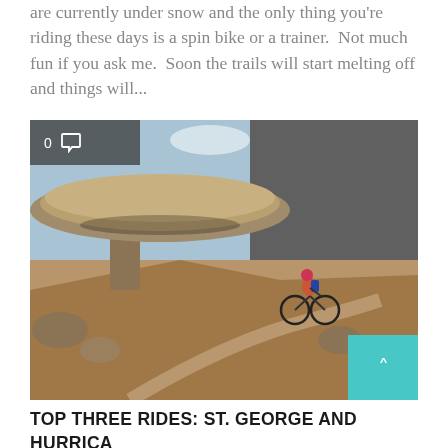are currently under snow and the only thing you're riding these days is a spin bike or a trainer.  Not much fun if you ask me.  Soon the trails will start melting off and things will...
[Figure (photo): Mountain biker riding on a rocky desert trail beneath a large overhanging mushroom-shaped rock formation, with arid landscape and cloudy sky in the background. Dark overlay badge in top-left corner shows '0' and a speech bubble icon.]
TOP THREE RIDES: ST. GEORGE AND HURRICA UT
Although St. George is one of the best riding spots in